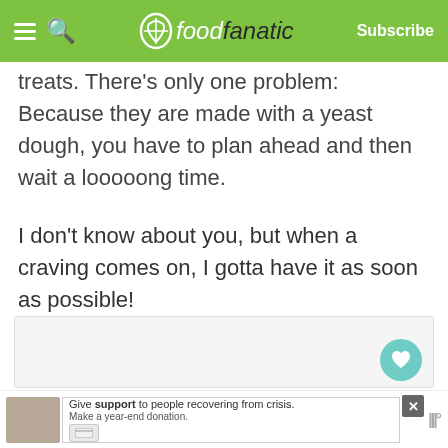foodfanatic — Subscribe
treats. There's only one problem: Because they are made with a yeast dough, you have to plan ahead and then wait a looooong time.
I don't know about you, but when a craving comes on, I gotta have it as soon as possible!
[Figure (other): Content image placeholder with heart/favorite button showing count of 1 and a share button]
[Figure (screenshot): Advertisement banner: Give support to people recovering from crisis. Make a year-end donation.]